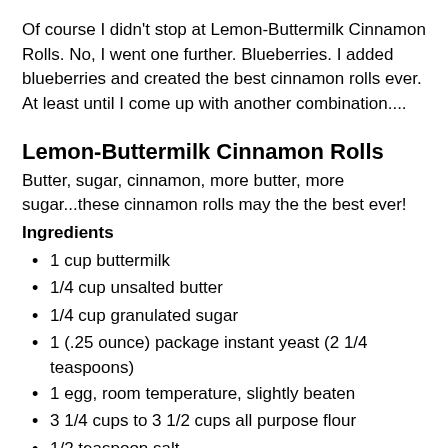Of course I didn't stop at Lemon-Buttermilk Cinnamon Rolls. No, I went one further. Blueberries. I added blueberries and created the best cinnamon rolls ever. At least until I come up with another combination....
Lemon-Buttermilk Cinnamon Rolls
Butter, sugar, cinnamon, more butter, more sugar...these cinnamon rolls may the the best ever!
Ingredients
1 cup buttermilk
1/4 cup unsalted butter
1/4 cup granulated sugar
1 (.25 ounce) package instant yeast (2 1/4 teaspoons)
1 egg, room temperature, slightly beaten
3 1/4 cups to 3 1/2 cups all purpose flour
1/2 teaspoon salt
1 cup brown sugar, packed